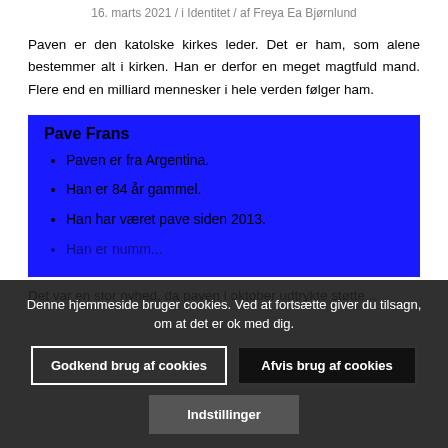16. marts 2021 / i Identitet / af Freya Ea Bjørnlund
Paven er den katolske kirkes leder. Det er ham, som alene bestemmer alt i kirken. Han er derfor en meget magtfuld mand. Flere end en milliard mennesker i hele verden følger ham.
Pave Frans
Paven er fra Argentina.
Han er 84 år gammel.
Han har været pave siden 2013.
Han er nummer... (partially obscured)
Det var en stor nyhed, da paven i oktober udtrykte støtte...